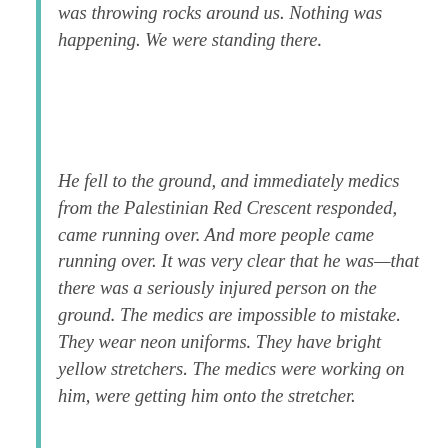was throwing rocks around us. Nothing was happening. We were standing there.
He fell to the ground, and immediately medics from the Palestinian Red Crescent responded, came running over. And more people came running over. It was very clear that he was—that there was a seriously injured person on the ground. The medics are impossible to mistake. They wear neon uniforms. They have bright yellow stretchers. The medics were working on him, were getting him onto the stretcher.